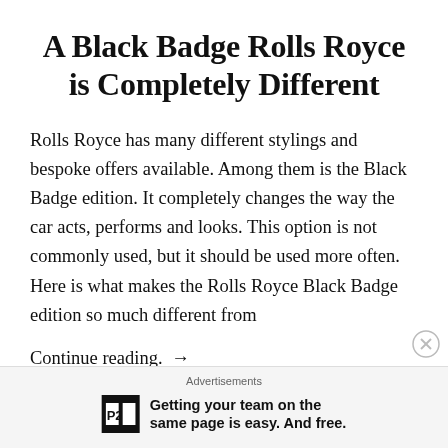A Black Badge Rolls Royce is Completely Different
Rolls Royce has many different stylings and bespoke offers available. Among them is the Black Badge edition. It completely changes the way the car acts, performs and looks. This option is not commonly used, but it should be used more often. Here is what makes the Rolls Royce Black Badge edition so much different from
Continue reading.  →
Advertisements
Getting your team on the same page is easy. And free.